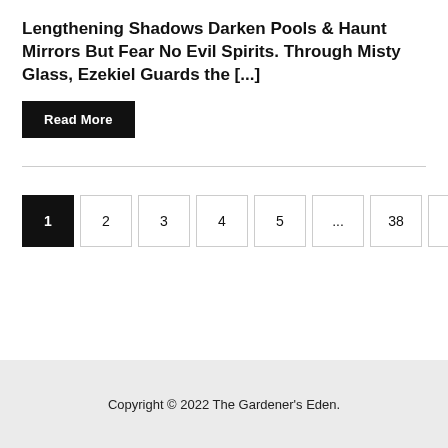Lengthening Shadows Darken Pools & Haunt Mirrors But Fear No Evil Spirits. Through Misty Glass, Ezekiel Guards the [...]
Read More
1
2
3
4
5
...
38
Next
Copyright © 2022 The Gardener's Eden.